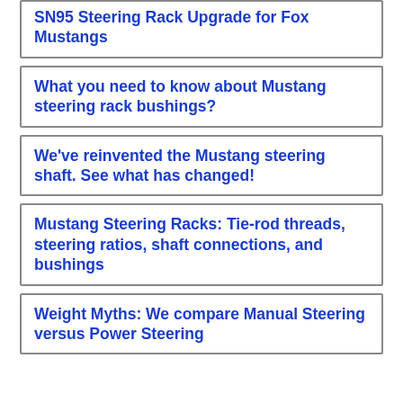SN95 Steering Rack Upgrade for Fox Mustangs
What you need to know about Mustang steering rack bushings?
We've reinvented the Mustang steering shaft. See what has changed!
Mustang Steering Racks: Tie-rod threads, steering ratios, shaft connections, and bushings
Weight Myths: We compare Manual Steering versus Power Steering